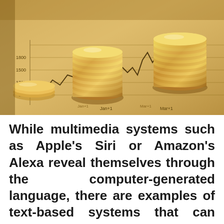[Figure (photo): Photo of gold coin stacks on top of financial chart paper showing stock market graph lines, warm golden/amber tones]
While multimedia systems such as Apple's Siri or Amazon's Alexa reveal themselves through the computer-generated language, there are examples of text-based systems that can hardly be distinguished from real